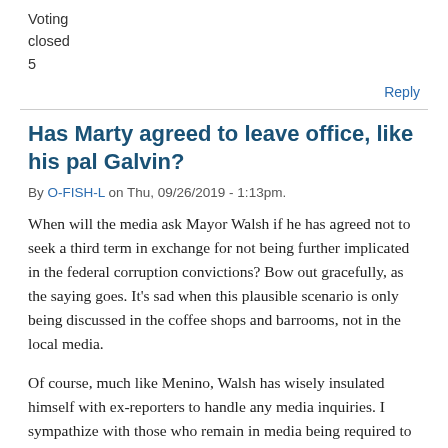Voting closed 5
Reply
Has Marty agreed to leave office, like his pal Galvin?
By O-FISH-L on Thu, 09/26/2019 - 1:13pm.
When will the media ask Mayor Walsh if he has agreed not to seek a third term in exchange for not being further implicated in the federal corruption convictions? Bow out gracefully, as the saying goes. It's sad when this plausible scenario is only being discussed in the coffee shops and barrooms, not in the local media.
Of course, much like Menino, Walsh has wisely insulated himself with ex-reporters to handle any media inquiries. I sympathize with those who remain in media being required to